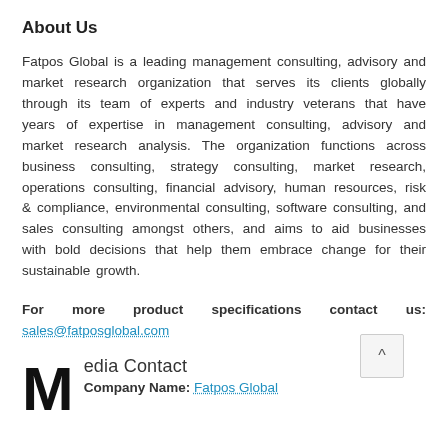About Us
Fatpos Global is a leading management consulting, advisory and market research organization that serves its clients globally through its team of experts and industry veterans that have years of expertise in management consulting, advisory and market research analysis. The organization functions across business consulting, strategy consulting, market research, operations consulting, financial advisory, human resources, risk & compliance, environmental consulting, software consulting, and sales consulting amongst others, and aims to aid businesses with bold decisions that help them embrace change for their sustainable growth.
For more product specifications contact us: sales@fatposglobal.com
Media Contact Company Name: Fatpos Global